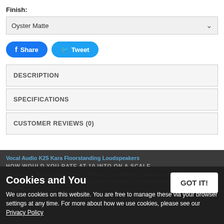Finish:
Oyster Matte
Share
Tweet
DESCRIPTION
SPECIFICATIONS
CUSTOMER REVIEWS (0)
Vocal Audio K25 Kara Floorstanding Loudspeakers
HOW WOULD YOU RATE AT 10 INTO ON A SCALE
Designed for small spaces, Maya 25 delivers a fine-detailed, transparent sound on a scale that belies its compact dimensions. Drawing visual inspiration from our bestselling Oval range, and shaping
Cookies and You
We use cookies on this website. You are free to manage these via your browser settings at any time. For more about how we use cookies, please see our Privacy Policy
GOT IT!